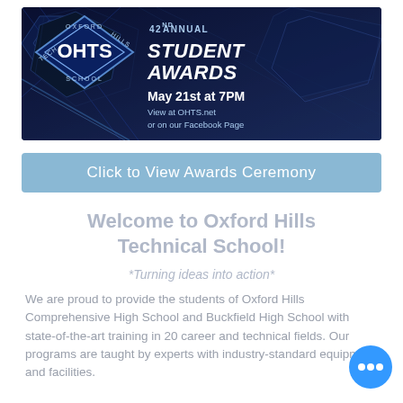[Figure (illustration): Oxford Hills Technical School banner for the 42nd Annual Student Awards. Dark blue geometric background with OHTS diamond logo on left and event text on right: '42nd Annual Student Awards, May 21st at 7PM, View at OHTS.net or on our Facebook Page']
Click to View Awards Ceremony
Welcome to Oxford Hills Technical School!
*Turning ideas into action*
We are proud to provide the students of Oxford Hills Comprehensive High School and Buckfield High School with state-of-the-art training in 20 career and technical fields. Our programs are taught by experts with industry-standard equipment and facilities.